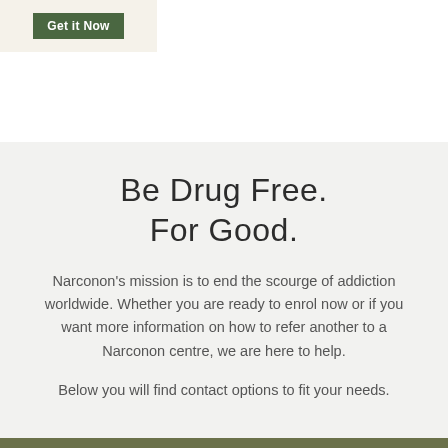[Figure (other): Green 'Get it Now' button on a cream/beige background panel in the top-left corner]
Be Drug Free.
For Good.
Narconon's mission is to end the scourge of addiction worldwide. Whether you are ready to enrol now or if you want more information on how to refer another to a Narconon centre, we are here to help.
Below you will find contact options to fit your needs.